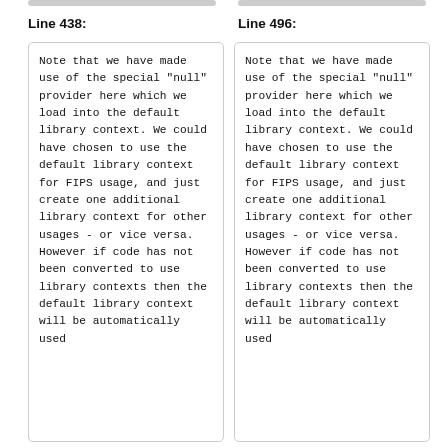Line 438:
Line 496:
Note that we have made use of the special "null" provider here which we load into the default library context. We could have chosen to use the default library context for FIPS usage, and just create one additional library context for other usages - or vice versa. However if code has not been converted to use library contexts then the default library context will be automatically used
Note that we have made use of the special "null" provider here which we load into the default library context. We could have chosen to use the default library context for FIPS usage, and just create one additional library context for other usages - or vice versa. However if code has not been converted to use library contexts then the default library context will be automatically used